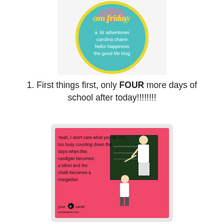[Figure (illustration): A circular badge on teal/turquoise background with yellow border. Script text 'on friday' in pink/yellow, with white text listing: 'a. liz adventures', 'carolina charm', 'hello! happiness', 'the good life blog']
1. First things first, only FOUR more days of school after today!!!!!!!!
[Figure (illustration): A someecards.com ecard on pink background. Text reads: 'Yeah, I don't care what you do. I'm too busy counting down the days when this cardigan becomes a bikini and the chalk becomes a margarita!' with a cartoon drawing of a teacher at a chalkboard with a student. Bottom reads 'your [e] cards someecards.com']